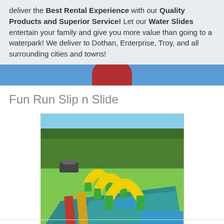deliver the Best Rental Experience with our Quality Products and Superior Service! Let our Water Slides entertain your family and give you more value than going to a waterpark! We deliver to Dothan, Enterprise, Troy, and all surrounding cities and towns!
Fun Run Slip n Slide
[Figure (photo): Outdoor photo of a Fun Run Slip n Slide inflatable water slide with colorful arches (yellow, green, red) on a grassy area with trees in the background.]